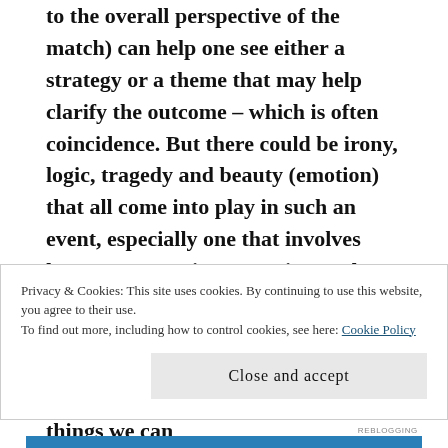to the overall perspective of the match) can help one see either a strategy or a theme that may help clarify the outcome – which is often coincidence. But there could be irony, logic, tragedy and beauty (emotion) that all come into play in such an event, especially one that involves humans contesting a tennis match, one-on-one, mano y mano, the stakes so incredibly high (or not that high really, considering it's just a tennis match and there are so many other things we can
Privacy & Cookies: This site uses cookies. By continuing to use this website, you agree to their use.
To find out more, including how to control cookies, see here: Cookie Policy